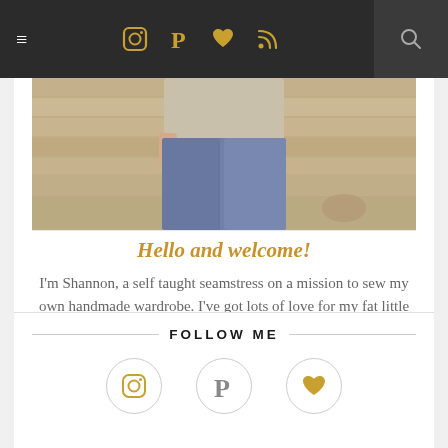≡  [instagram] [pinterest] [heart] [rss]  [search]
[Figure (photo): Cropped photo of a person wearing jeans and a light sweater, standing in front of a wooden wall]
Hello and welcome!
I'm Shannon, a self taught seamstress on a mission to sew my own handmade wardrobe. I've got lots of love for my fat little pug Vito, thrifting vintage goodies, and DIY. Join me as I share my makes and what I've learned along the way.
FOLLOW ME
[Figure (illustration): Three circular icons: Instagram camera icon, Pinterest P icon (gold), heart icon (gold)]